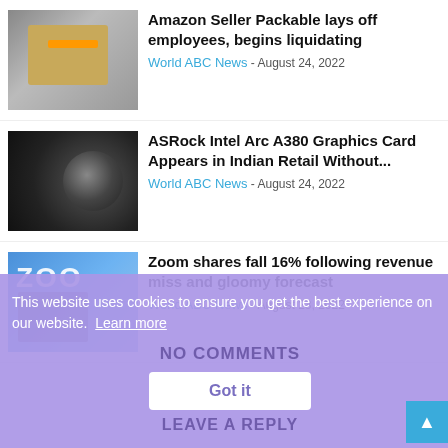[Figure (photo): Amazon packages stacked, brownish boxes visible]
Amazon Seller Packable lays off employees, begins liquidating
World ABC News - August 24, 2022
[Figure (photo): ASRock Intel Arc A380 graphics card with fan visible on dark background]
ASRock Intel Arc A380 Graphics Card Appears in Indian Retail Without...
World ABC News - August 24, 2022
[Figure (photo): Zoom conference screen with man on phone in foreground]
Zoom shares fall 16% following revenue miss and gloomy forecast
World ABC News - August 23, 2022
This website uses cookies to ensure you get the best experience on our website. Learn more
NO COMMENTS
Got it
LEAVE A REPLY